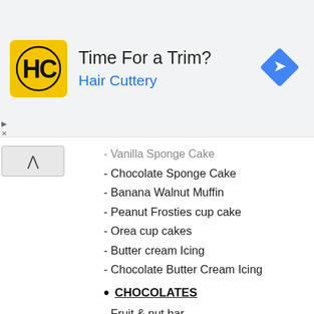[Figure (advertisement): Hair Cuttery ad banner with yellow logo showing HC initials, text 'Time For a Trim?' and 'Hair Cuttery' in blue, blue diamond arrow icon on right]
- Vanilla Sponge Cake (partially visible)
- Chocolate Sponge Cake
- Banana Walnut Muffin
- Peanut Frosties cup cake
- Orea cup cakes
- Butter cream Icing
- Chocolate Butter Cream Icing
CHOCOLATES
- Fruit & nut bar
- Chaco crunch
- Kit Kat
- Marble kisses (partially visible)